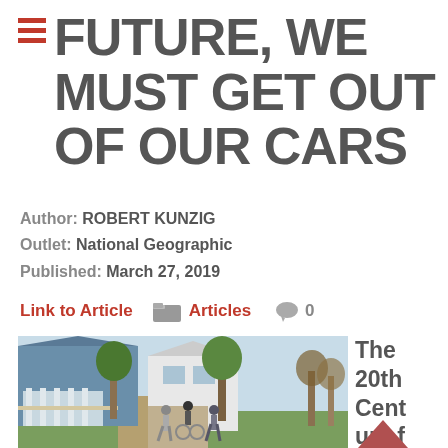FUTURE, WE MUST GET OUT OF OUR CARS
Author: ROBERT KUNZIG
Outlet: National Geographic
Published: March 27, 2019
Link to Article   Articles   0
[Figure (photo): Three children on a suburban sidewalk, one on a bicycle, with a blue house and trees in background]
The 20th Century family for who